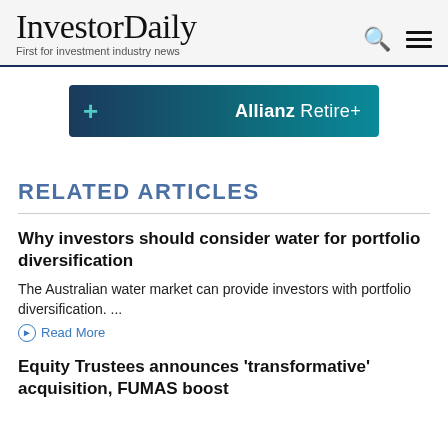InvestorDaily — First for investment industry news
[Figure (logo): Allianz Retire+ advertisement banner with teal plus sign and dark navy-to-teal gradient background]
RELATED ARTICLES
Why investors should consider water for portfolio diversification
The Australian water market can provide investors with portfolio diversification. ...
Read More
Equity Trustees announces 'transformative' acquisition, FUMAS boost